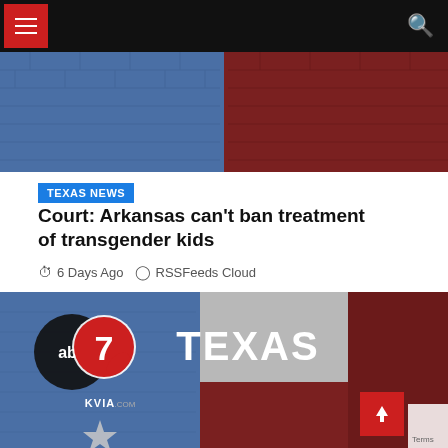Navigation bar with hamburger menu and search icon
[Figure (photo): Blue and red brick wall texture representing Texas flag colors]
TEXAS NEWS
Court: Arkansas can't ban treatment of transgender kids
6 Days Ago  RSSFeeds Cloud
[Figure (photo): ABC7 KVIA.com logo on left with Texas flag brick wall on right, showing 'TEXAS' text and a star]